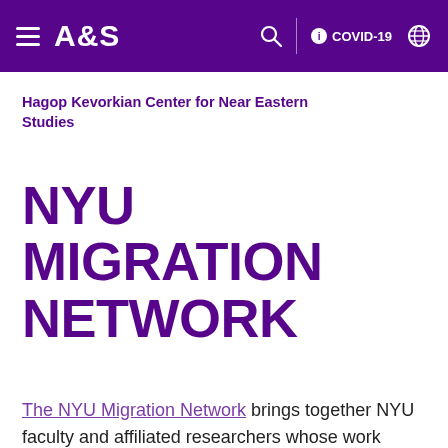A&S | COVID-19
Hagop Kevorkian Center for Near Eastern Studies
NYU MIGRATION NETWORK
The NYU Migration Network brings together NYU faculty and affiliated researchers whose work